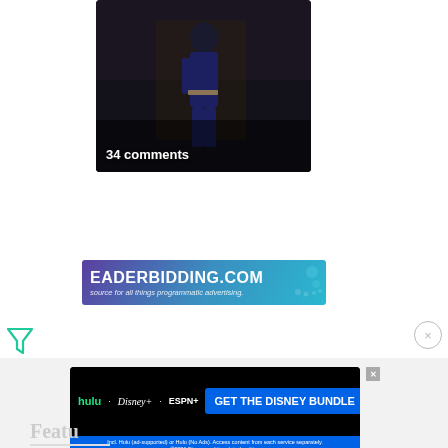[Figure (photo): Dark-toned thumbnail image of a figure in blue/black outfit standing in a shadowy environment, with overlay text '34 comments']
[Figure (screenshot): Advertisement banner for HEADERBIDDING.COM - 'Your source for all things programmatic advertising.' with purple-to-cyan gradient background and decorative dot pattern]
[Figure (logo): Green triangular/filter funnel icon (ad filter/tracking icon)]
[Figure (screenshot): Disney Bundle advertisement showing Hulu, Disney+, and ESPN+ logos with 'GET THE DISNEY BUNDLE' call-to-action button and fine print disclaimer text]
Featu